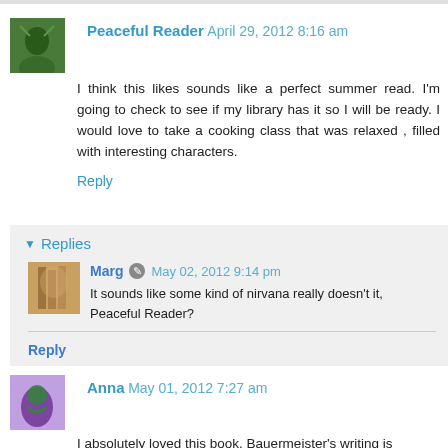Peaceful Reader   April 29, 2012 8:16 am
I think this likes sounds like a perfect summer read. I'm going to check to see if my library has it so I will be ready. I would love to take a cooking class that was relaxed , filled with interesting characters.
Reply
Replies
Marg   May 02, 2012 9:14 pm
It sounds like some kind of nirvana really doesn't it, Peaceful Reader?
Reply
Anna   May 01, 2012 7:27 am
I absolutely loved this book. Bauermeister's writing is